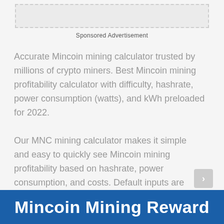[Figure (other): Dashed rectangle placeholder box, light gray background]
Sponsored Advertisement
Accurate Mincoin mining calculator trusted by millions of crypto miners. Best Mincoin mining profitability calculator with difficulty, hashrate, power consumption (watts), and kWh preloaded for 2022.
Our MNC mining calculator makes it simple and easy to quickly see Mincoin mining profitability based on hashrate, power consumption, and costs. Default inputs are preloaded with the latest Mincoin difficulty target and Mincoin mining hashrate for the best Mincoin miner.
Mincoin Mining Reward